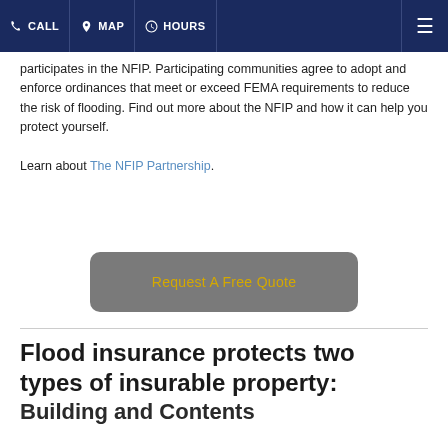CALL | MAP | HOURS
participates in the NFIP. Participating communities agree to adopt and enforce ordinances that meet or exceed FEMA requirements to reduce the risk of flooding. Find out more about the NFIP and how it can help you protect yourself.

Learn about The NFIP Partnership.
[Figure (other): Gray rounded rectangle button with yellow text 'Request A Free Quote']
Flood insurance protects two types of insurable property: Building and Contents